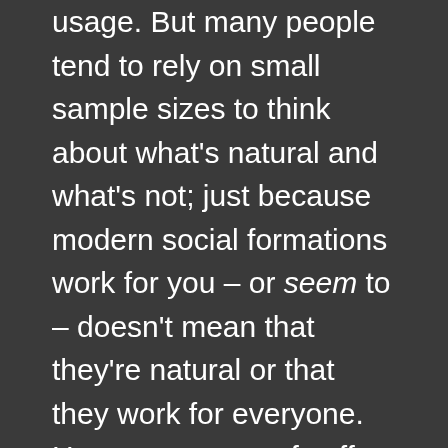usage. But many people tend to rely on small sample sizes to think about what's natural and what's not; just because modern social formations work for you – or seem to – doesn't mean that they're natural or that they work for everyone. How many cups of coffee do you drink each day? Or how much caffeinated soda? Have you eaten a snack today to offset sleepiness? Or taken a nap? Could you have gotten through your day a little easier if you slept in an extra hour?
There's nothing natural about alarm clocks. And many sleep researchers and physicians would say that they're one of the worst things for good